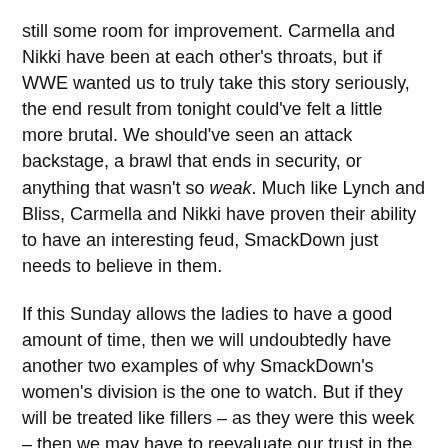still some room for improvement. Carmella and Nikki have been at each other's throats, but if WWE wanted us to truly take this story seriously, the end result from tonight could've felt a little more brutal. We should've seen an attack backstage, a brawl that ends in security, or anything that wasn't so weak. Much like Lynch and Bliss, Carmella and Nikki have proven their ability to have an interesting feud, SmackDown just needs to believe in them.
If this Sunday allows the ladies to have a good amount of time, then we will undoubtedly have another two examples of why SmackDown's women's division is the one to watch. But if they will be treated like fillers – as they were this week – then we may have to reevaluate our trust in the blue brand...
What did you think of this week's episode? Are you excited for No Mercy this Sunday? Let us know your views in the comments below!